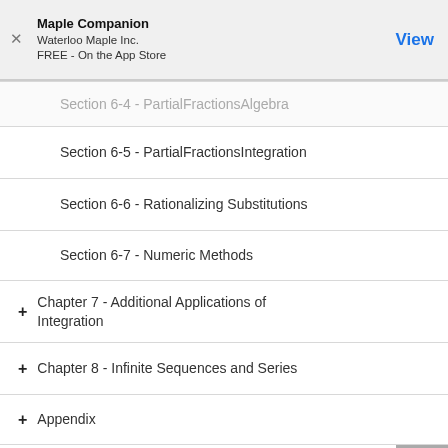Maple Companion
Waterloo Maple Inc.
FREE - On the App Store
View
Section 6-4 - PartialFractionsAlgebra
Section 6-5 - PartialFractionsIntegration
Section 6-6 - Rationalizing Substitutions
Section 6-7 - Numeric Methods
Chapter 7 - Additional Applications of Integration
Chapter 8 - Infinite Sequences and Series
Appendix
Table of Contents
MultivariateCalculus